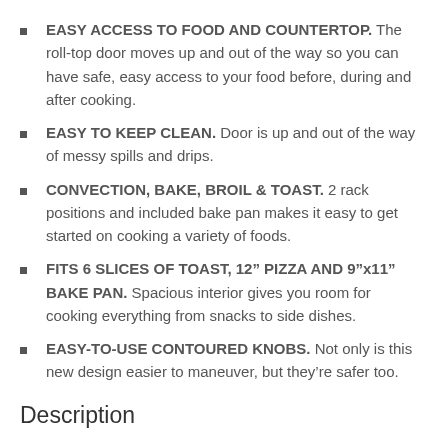EASY ACCESS TO FOOD AND COUNTERTOP. The roll-top door moves up and out of the way so you can have safe, easy access to your food before, during and after cooking.
EASY TO KEEP CLEAN. Door is up and out of the way of messy spills and drips.
CONVECTION, BAKE, BROIL & TOAST. 2 rack positions and included bake pan makes it easy to get started on cooking a variety of foods.
FITS 6 SLICES OF TOAST, 12” PIZZA AND 9”x11” BAKE PAN. Spacious interior gives you room for cooking everything from snacks to side dishes.
EASY-TO-USE CONTOURED KNOBS. Not only is this new design easier to maneuver, but they’re safer too.
Description